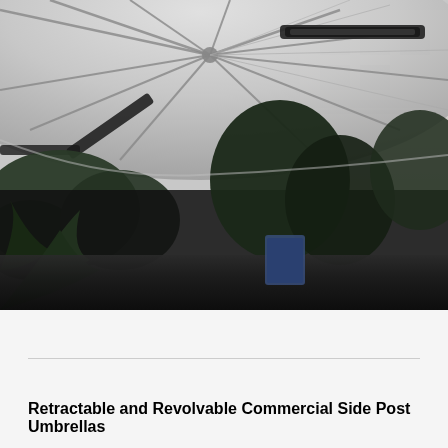[Figure (photo): Photograph taken from below a large white commercial side post umbrella, looking up at the canopy ribs and fabric, with infrared heaters mounted underneath. Background shows trees, garden foliage, and a building facade visible at the top right.]
Retractable and Revolvable Commercial Side Post Umbrellas